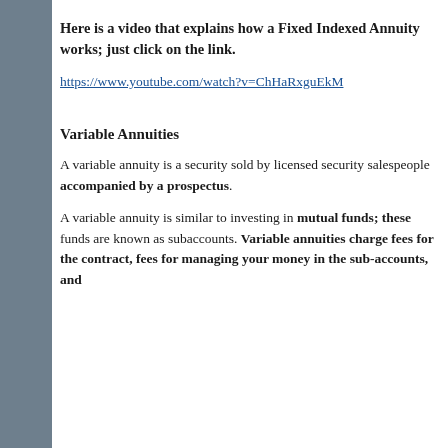Here is a video that explains how a Fixed Indexed Annuity works; just click on the link.
https://www.youtube.com/watch?v=ChHaRxguEkM
Variable Annuities
A variable annuity is a security sold by licensed security salespeople accompanied by a prospectus.
A variable annuity is similar to investing in mutual funds; these funds are known as subaccounts. Variable annuities charge fees for the contract, fees for managing your money in the sub-accounts, and